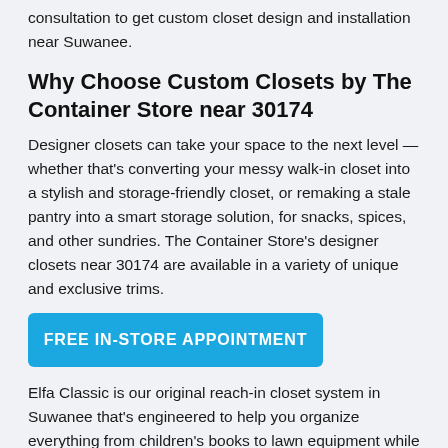consultation to get custom closet design and installation near Suwanee.
Why Choose Custom Closets by The Container Store near 30174
Designer closets can take your space to the next level — whether that's converting your messy walk-in closet into a stylish and storage-friendly closet, or remaking a stale pantry into a smart storage solution, for snacks, spices, and other sundries. The Container Store's designer closets near 30174 are available in a variety of unique and exclusive trims.
[Figure (other): Blue button with text FREE IN-STORE APPOINTMENT]
Elfa Classic is our original reach-in closet system in Suwanee that's engineered to help you organize everything from children's books to lawn equipment while perfectly conforming into your budget and space. Elfa Décor adds a polished spin to the classic with a variety of wood or deluxe options and finishes. Avera is a game-changing designer closet system near 30174 that offers a built-in closet look complete with LED